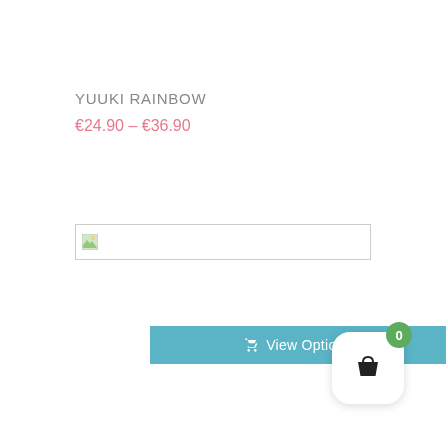YUUKI RAINBOW
€24.90 – €36.90
[Figure (other): A teal/blue 'View Options' button with a shopping cart icon]
[Figure (other): A broken image placeholder in a bordered box]
[Figure (other): A shopping basket widget with a green badge showing 0, white rounded square background, bottom right corner]